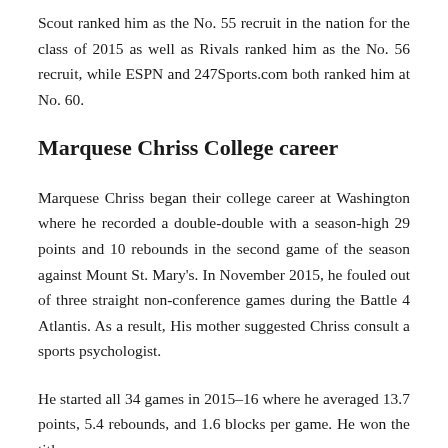Scout ranked him as the No. 55 recruit in the nation for the class of 2015 as well as Rivals ranked him as the No. 56 recruit, while ESPN and 247Sports.com both ranked him at No. 60.
Marquese Chriss College career
Marquese Chriss began their college career at Washington where he recorded a double-double with a season-high 29 points and 10 rebounds in the second game of the season against Mount St. Mary's. In November 2015, he fouled out of three straight non-conference games during the Battle 4 Atlantis. As a result, His mother suggested Chriss consult a sports psychologist.
He started all 34 games in 2015–16 where he averaged 13.7 points, 5.4 rebounds, and 1.6 blocks per game. He won the title of...